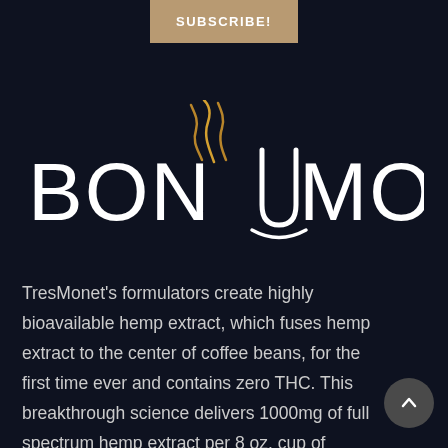SUBSCRIBE!
[Figure (logo): BonUmor logo with stylized steam/flame above the letter U on a dark background, text in white with gold steam graphic]
TresMonet's formulators create highly bioavailable hemp extract, which fuses hemp extract to the center of coffee beans, for the first time ever and contains zero THC. This breakthrough science delivers 1000mg of full spectrum hemp extract per 8 oz. cup of BonUmor.